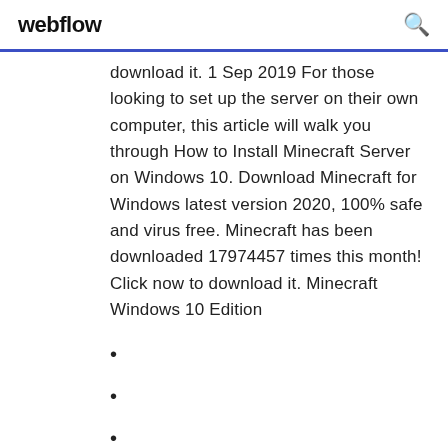webflow
download it. 1 Sep 2019 For those looking to set up the server on their own computer, this article will walk you through How to Install Minecraft Server on Windows 10. Download Minecraft for Windows latest version 2020, 100% safe and virus free. Minecraft has been downloaded 17974457 times this month! Click now to download it. Minecraft Windows 10 Edition
1613